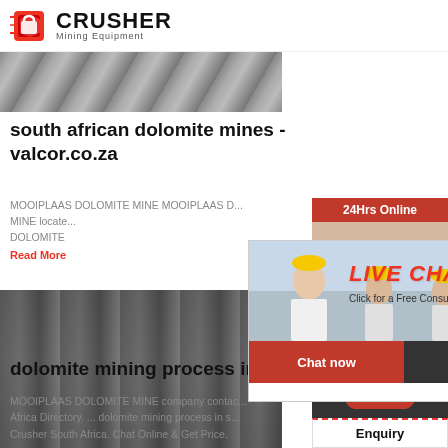CRUSHER Mining Equipment
[Figure (photo): Partial top image of rock/stone mining material]
south african dolomite mines - valcor.co.za
MOOIPLAAS DOLOMITE MINE MOOIPLAAS DOLOMITE MINE located DOLOMITE
Read More
[Figure (photo): Mining crusher machine / equipment in outdoor setting]
[Figure (photo): Live Chat popup overlay with workers in hard hats]
dolomite mining process in south
MOOIPLAAS DOLOMITE MINE company contact Africa Directory. ... dolomite mining process in south Crusher South Africa. Chat Online & Get Price.
[Figure (infographic): Right sidebar: 24Hrs Online bar, customer service representative photo, Need questions & suggestion? Chat Now button, Enquiry section, limingjlmofen@sina.com email]
[Figure (infographic): Live Chat popup: Click for a Free Consultation, Chat now and Chat later buttons]